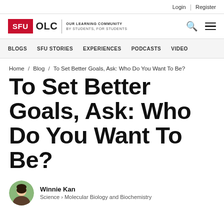Login | Register
[Figure (logo): SFU OLC - Our Learning Community, By Students, For Students logo with red SFU box, search icon and hamburger menu]
BLOGS  SFU STORIES  EXPERIENCES  PODCASTS  VIDEO
Home / Blog / To Set Better Goals, Ask: Who Do You Want To Be?
To Set Better Goals, Ask: Who Do You Want To Be?
Winnie Kan
Science › Molecular Biology and Biochemistry